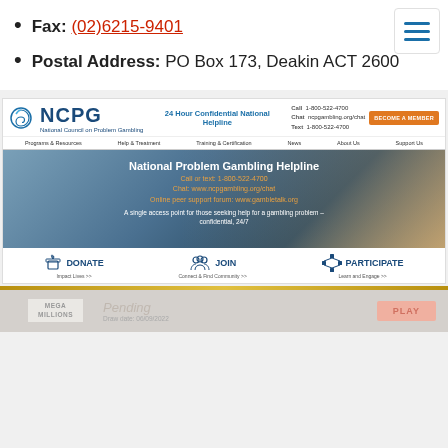Fax: (02)6215-9401
Postal Address: PO Box 173, Deakin ACT 2600
[Figure (screenshot): NCPG (National Council on Problem Gambling) website screenshot showing logo, 24 Hour Confidential National Helpline, contact info (Call 1-800-522-4700, Chat ncpgambling.org/chat, Text 1-800-522-4700), BECOME A MEMBER button, navigation bar (Programs & Resources, Help & Treatment, Training & Certification, News, About Us, Support Us), hero banner for National Problem Gambling Helpline with orange text (Call or text: 1-800-522-4700, Chat: www.ncpgambling.org/chat, Online peer support forum: www.gambletalk.org), white text (A single access point for those seeking help for a gambling problem – confidential, 24/7), and CTA buttons (DONATE – Impact Lives, JOIN – Connect & Find Community, PARTICIPATE – Learn and Engage)]
[Figure (screenshot): Mega Millions lottery bar showing MEGA MILLIONS logo, Pending status, Draw date: 06/09/2022, and PLAY button]